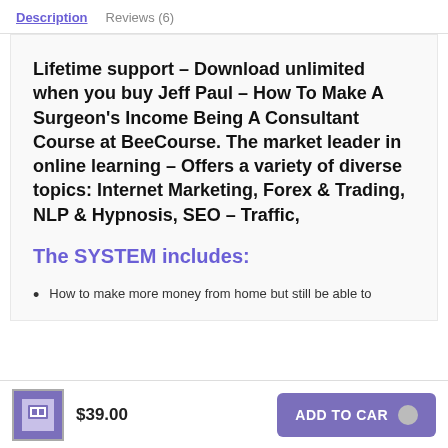Description    Reviews (6)
Lifetime support – Download unlimited when you buy Jeff Paul – How To Make A Surgeon's Income Being A Consultant Course at BeeCourse. The market leader in online learning – Offers a variety of diverse topics: Internet Marketing, Forex & Trading, NLP & Hypnosis, SEO – Traffic,
The SYSTEM includes:
How to make more money from home but still be able to
$39.00    ADD TO CART